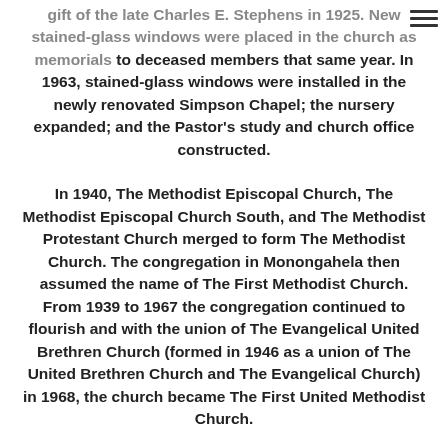gift of the late Charles E. Stephens in 1925. New stained-glass windows were placed in the church as memorials to deceased members that same year. In 1963, stained-glass windows were installed in the newly renovated Simpson Chapel; the nursery expanded; and the Pastor's study and church office constructed.
In 1940, The Methodist Episcopal Church, The Methodist Episcopal Church South, and The Methodist Protestant Church merged to form The Methodist Church. The congregation in Monongahela then assumed the name of The First Methodist Church. From 1939 to 1967 the congregation continued to flourish and with the union of The Evangelical United Brethren Church (formed in 1946 as a union of The United Brethren Church and The Evangelical Church) in 1968, the church became The First United Methodist Church.
Incorporated continuously since 1850, the church filed a